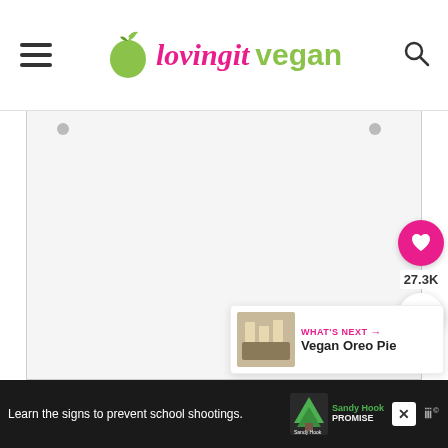[Figure (logo): Loving It Vegan website logo with green apple icon, pink italic 'lovingit' and green 'vegan' text, hamburger menu icon on left, search icon on right]
[Figure (other): Main content area with light gray background and border, largely blank/white content]
[Figure (infographic): Floating sidebar with pink heart button, 27.3K count label, and white share button]
[Figure (other): What's Next panel showing Vegan Oreo Pie with thumbnail image]
[Figure (other): Advertisement banner at bottom: 'Learn the signs to prevent school shootings.' with Sandy Hook Promise logo and tree graphic]